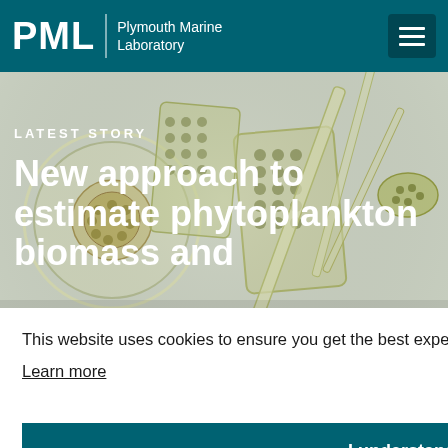PML | Plymouth Marine Laboratory
[Figure (photo): Microscope image of phytoplankton cells — diatoms and other microalgae in shades of yellow-green and translucent white, on a light grey background]
LATEST STORY
New approach to estimate phytoplankton biomass and
This website uses cookies to ensure you get the best experience on our website. Learn more
I understand